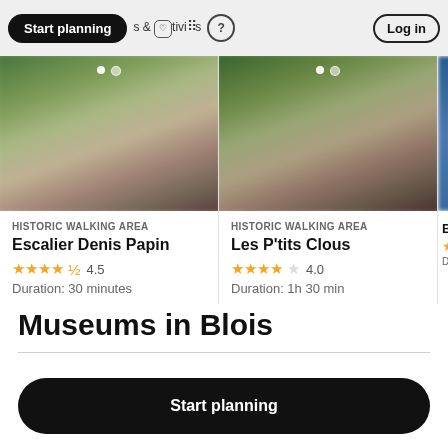Start planning | & Activities | ? | Log in
[Figure (screenshot): Blurred thumbnail image of Escalier Denis Papin walking area]
HISTORIC WALKING AREA
Escalier Denis Papin
★★★★½ 4.5
Duration: 30 minutes
[Figure (screenshot): Blurred thumbnail image of Les P'tits Clous walking area]
HISTORIC WALKING AREA
Les P'tits Clous
★★★★☆ 4.0
Duration: 1h 30 min
Museums in Blois
Start planning